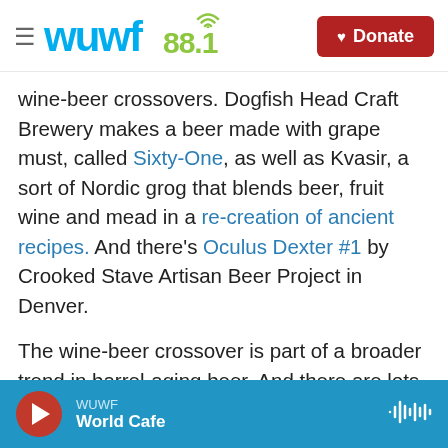WUWF 88.1 | Donate
wine-beer crossovers. Dogfish Head Craft Brewery makes a beer made with grape must, called Sixty-One, as well as Kvasir, a sort of Nordic grog that blends beer, fruit wine and mead in a re-creation of ancient recipes. And there's Oculus Dexter #1 by Crooked Stave Artisan Beer Project in Denver.
The wine-beer crossover is part of a broader trend in barrel-aging beer. And there are lots of examples of this trend, from Fernet Aged Porter from Odell Brewing Co. in Fort Collins, Colo., to Bourbon Barrel Aged Imperial Stout from Full Sail Brewing Co. in Hood River, Ore.
WUWF World Cafe